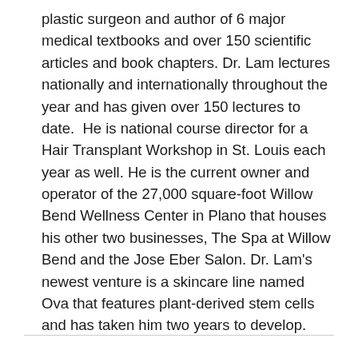plastic surgeon and author of 6 major medical textbooks and over 150 scientific articles and book chapters. Dr. Lam lectures nationally and internationally throughout the year and has given over 150 lectures to date.  He is national course director for a Hair Transplant Workshop in St. Louis each year as well. He is the current owner and operator of the 27,000 square-foot Willow Bend Wellness Center in Plano that houses his other two businesses, The Spa at Willow Bend and the Jose Eber Salon. Dr. Lam's newest venture is a skincare line named Ova that features plant-derived stem cells and has taken him two years to develop.